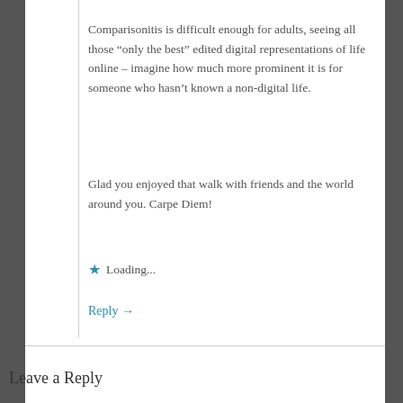Comparisonitis is difficult enough for adults, seeing all those “only the best” edited digital representations of life online – imagine how much more prominent it is for someone who hasn’t known a non-digital life.
Glad you enjoyed that walk with friends and the world around you. Carpe Diem!
★ Loading...
Reply →
Leave a Reply